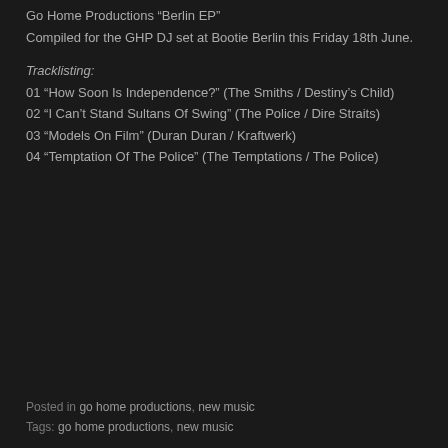Go Home Productions “Berlin EP”
Compiled for the GHP DJ set at Bootie Berlin this Friday 18th June.
Tracklisting:
01 “How Soon Is Independence?” (The Smiths / Destiny’s Child)
02 “I Can’t Stand Sultans Of Swing” (The Police / Dire Straits)
03 “Models On Film” (Duran Duran / Kraftwerk)
04 “Temptation Of The Police” (The Temptations / The Police)
Posted in go home productions, new music
Tags: go home productions, new music